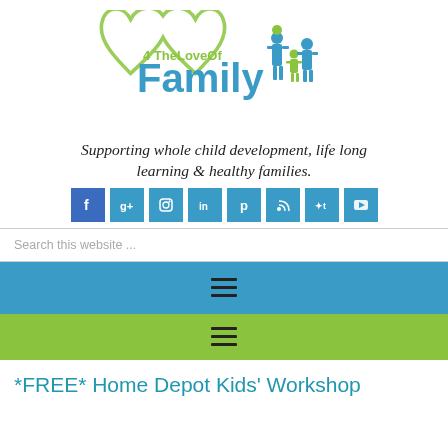[Figure (logo): 4 TheLoveOf Family logo with green heart shape and blue family silhouette figures, green and blue text reading '4 TheLoveOf Family']
Supporting whole child development, life long learning & healthy families.
[Figure (infographic): Row of 8 social media icon buttons in teal/blue: Facebook, Google+, Instagram, LinkedIn, Pinterest, RSS, Twitter, YouTube]
Search this website ...
[Figure (infographic): Blue navigation bar with hamburger menu icon]
[Figure (infographic): Green navigation bar with hamburger menu icon]
*FREE* Home Depot Kids' Workshop